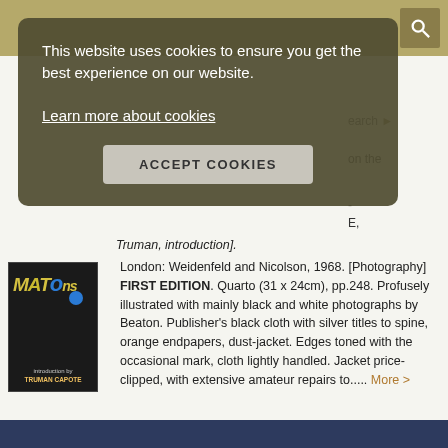This website uses cookies to ensure you get the best experience on our website.
Learn more about cookies
ACCEPT COOKIES
Truman, introduction].
[Figure (photo): Book cover with dark background, stylized text and blue dot, 'introduction by TRUMAN CAPOTE' at bottom]
London: Weidenfeld and Nicolson, 1968. [Photography] FIRST EDITION. Quarto (31 x 24cm), pp.248. Profusely illustrated with mainly black and white photographs by Beaton. Publisher's black cloth with silver titles to spine, orange endpapers, dust-jacket. Edges toned with the occasional mark, cloth lightly handled. Jacket price-clipped, with extensive amateur repairs to..... More >